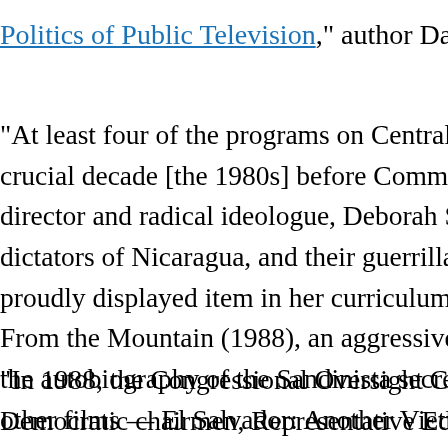Politics of Public Television," author David Horowitz w
“At least four of the programs on Central America w crucial decade [the 1980s] before Communism’s c director and radical ideologue, Deborah Shaffer, wh dictators of Nicaragua, and their guerrilla allies in El proudly displayed item in her curriculum vitae. Her From the Mountain (1988), an aggressive promotio the autobiography of the Sandinista secret-police c other films — El Salvador: Another Vietnam? (1981), Clements (1986), and Nicaragua: Report From the M commitment to the politics of the Central America
“In 1988, the Congressional Oversight Committees Democratic chairmen, Representative Edward Ma